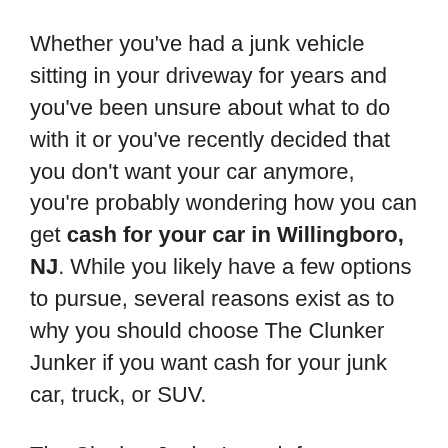Whether you've had a junk vehicle sitting in your driveway for years and you've been unsure about what to do with it or you've recently decided that you don't want your car anymore, you're probably wondering how you can get cash for your car in Willingboro, NJ. While you likely have a few options to pursue, several reasons exist as to why you should choose The Clunker Junker if you want cash for your junk car, truck, or SUV.
The Clunker Junker's cash for cars service is a fast and streamlined process. If you're thinking about cash for junk cars, you may have recently found yourself in need of fast money. Knowing that you'll likely have the cash within the next two days can help to alleviate these financial concerns. Trying to sell your junk car in Willingboro independently can lead to struggles that seriously lengthen the period of time before you make